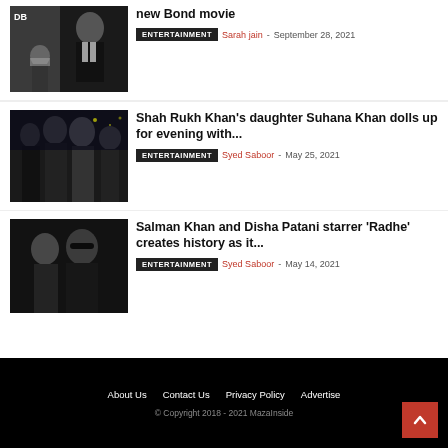[Figure (photo): Movie poster showing a man in a tuxedo with a person in a mask, resembling a James Bond style image]
new Bond movie
ENTERTAINMENT  Sarah jain - September 28, 2021
[Figure (photo): Group of women in black outfits at an evening event, likely Shah Rukh Khan's daughter Suhana Khan with friends]
Shah Rukh Khan's daughter Suhana Khan dolls up for evening with...
ENTERTAINMENT  Syed Saboor - May 25, 2021
[Figure (photo): Salman Khan and Disha Patani promotional image for the movie Radhe]
Salman Khan and Disha Patani starrer 'Radhe' creates history as it...
ENTERTAINMENT  Syed Saboor - May 14, 2021
About Us  Contact Us  Privacy Policy  Advertise  © Copyright 2018 - 2021 MazaInside